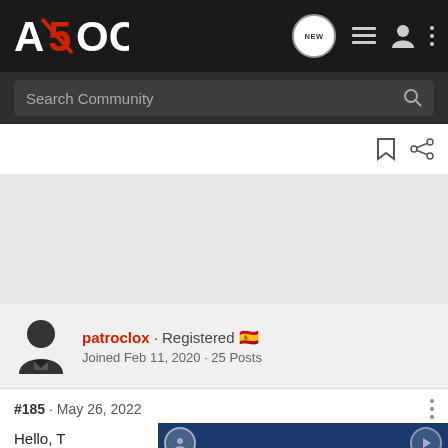A5OC community forum navigation bar with logo, NEW button, list icon, user icon, and more options
Search Community
patroclox · Registered 🇪🇸
Joined Feb 11, 2020 · 25 Posts
#185 · May 26, 2022
Hello, T[...]
Previous[...]ator that